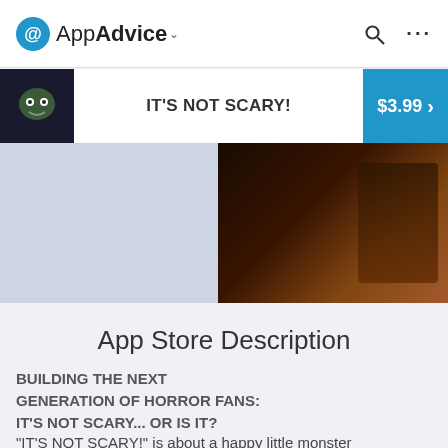AppAdvice
IT'S NOT SCARY!
$3.99 >
[Figure (screenshot): App screenshot area with light blue-grey background on the left and a dark game screenshot visible on the right edge]
App Store Description
BUILDING THE NEXT GENERATION OF HORROR FANS: IT'S NOT SCARY... OR IS IT?
"IT'S NOT SCARY!" is about a happy little monster